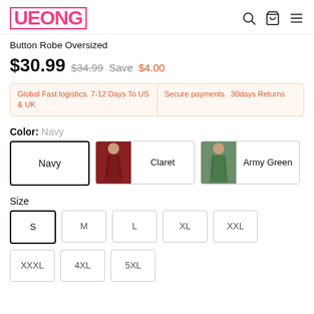UEONG
Button Robe Oversized
$30.99  $34.99  Save  $4.00
Global Fast logistics. 7-12 Days To US & UK   Secure payments.  30days Returns
Color: Navy
[Figure (other): Color swatches: Navy (selected, text only), Claret (with dress thumbnail), Army Green (with dress thumbnail)]
Size
S  M  L  XL  XXL  XXXL  4XL  5XL